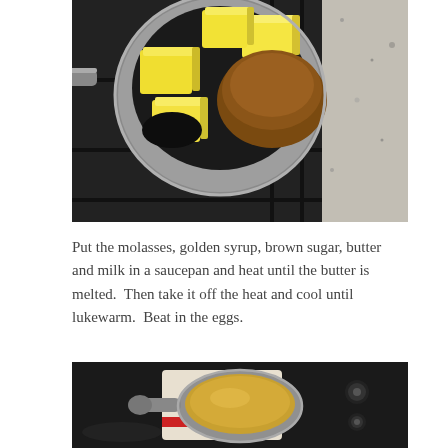[Figure (photo): A silver saucepan on a gas stove burner containing cubed butter and brown sugar, viewed from above. A granite countertop is visible in the background.]
Put the molasses, golden syrup, brown sugar, butter and milk in a saucepan and heat until the butter is melted.  Then take it off the heat and cool until lukewarm.  Beat in the eggs.
[Figure (photo): A silver saucepan sitting on a trivet/cloth on a black glass stovetop, containing a golden-brown melted liquid mixture.]